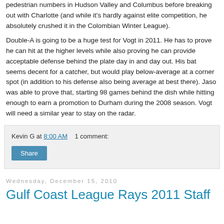pedestrian numbers in Hudson Valley and Columbus before breaking out with Charlotte (and while it's hardly against elite competition, he absolutely crushed it in the Colombian Winter League).
Double-A is going to be a huge test for Vogt in 2011. He has to prove he can hit at the higher levels while also proving he can provide acceptable defense behind the plate day in and day out. His bat seems decent for a catcher, but would play below-average at a corner spot (in addition to his defense also being average at best there). Jaso was able to prove that, starting 98 games behind the dish while hitting enough to earn a promotion to Durham during the 2008 season. Vogt will need a similar year to stay on the radar.
Kevin G at 8:00 AM    1 comment:
Share
Wednesday, December 15, 2010
Gulf Coast League Rays 2011 Staff